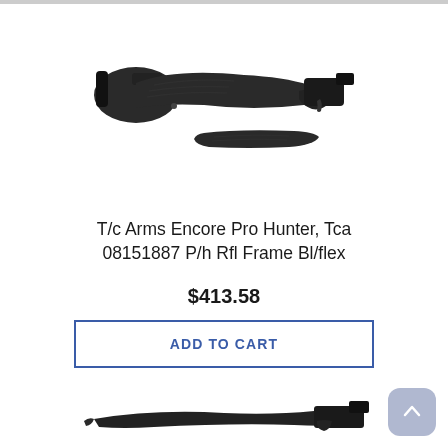[Figure (photo): T/C Arms Encore Pro Hunter rifle frame with black synthetic stock and separate forend, shown disassembled against white background]
T/c Arms Encore Pro Hunter, Tca 08151887 P/h Rfl Frame Bl/flex
$413.58
ADD TO CART
[Figure (photo): Partial view of another rifle product shown at bottom of page]